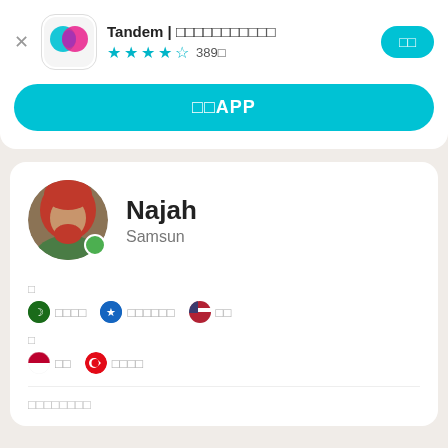[Figure (screenshot): Tandem app icon with teal and pink overlapping speech bubbles on white rounded square background]
Tandem | □□□□□□□□□□□
★★★★½ 389□
□□APP
[Figure (photo): Profile photo of Najah, a woman wearing a red hijab, smiling outdoors]
Najah
Samsun
□
□□□□  □□□□□□  □□
□
□□  □□□□
□□□□□□□□